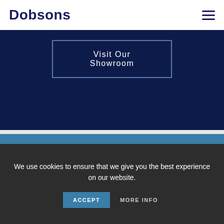Dobsons
Visit Our Showroom
Interested In Learning More?
Download Brochure
We use cookies to ensure that we give you the best experience on our website.
ACCEPT
MORE INFO